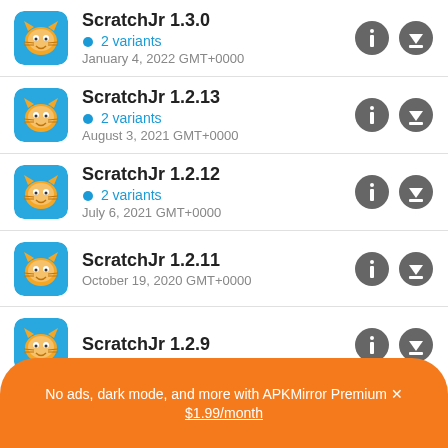ScratchJr 1.3.0 · 2 variants · January 4, 2022 GMT+0000
ScratchJr 1.2.13 · 2 variants · August 3, 2021 GMT+0000
ScratchJr 1.2.12 · 2 variants · July 6, 2021 GMT+0000
ScratchJr 1.2.11 · October 19, 2020 GMT+0000
ScratchJr 1.2.9
No ads, dark mode, and more with APKMirror Premium × $1.99/month